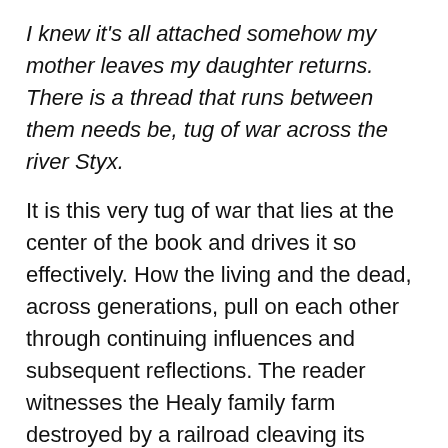I knew it's all attached somehow my mother leaves my daughter returns. There is a thread that runs between them needs be, tug of war across the river Styx.
It is this very tug of war that lies at the center of the book and drives it so effectively. How the living and the dead, across generations, pull on each other through continuing influences and subsequent reflections. The reader witnesses the Healy family farm destroyed by a railroad cleaving its center, only to find the next generation working for the railroad itself.
Roether builds layer on layer in discrete sections that move from place to place and from era to era. In the heart of The Depression, a starving man finds charity in the Healy kitchen making soup of hot water and ketchup and pilfering some crackers as the young Rose and her sister